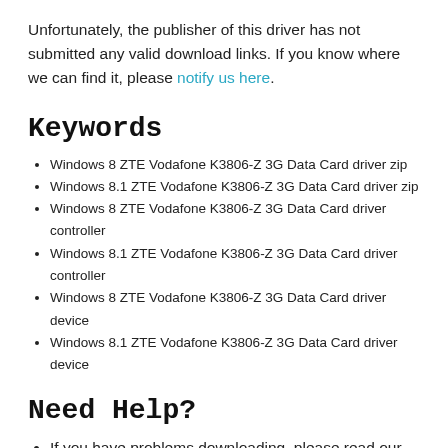Unfortunately, the publisher of this driver has not submitted any valid download links. If you know where we can find it, please notify us here.
Keywords
Windows 8 ZTE Vodafone K3806-Z 3G Data Card driver zip
Windows 8.1 ZTE Vodafone K3806-Z 3G Data Card driver zip
Windows 8 ZTE Vodafone K3806-Z 3G Data Card driver controller
Windows 8.1 ZTE Vodafone K3806-Z 3G Data Card driver controller
Windows 8 ZTE Vodafone K3806-Z 3G Data Card driver device
Windows 8.1 ZTE Vodafone K3806-Z 3G Data Card driver device
Need Help?
If you have problems downloading, please read our downloading guide.
Support for ZTE Vodafone K3806-Z 3G Data Card is